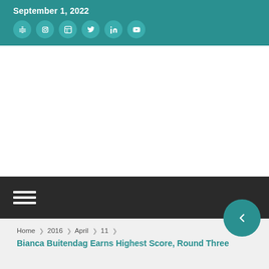September 1, 2022
[Figure (other): Social media icon buttons (6 circular teal icons) in the page header]
[Figure (other): White content/ad area]
[Figure (other): Dark navigation bar with hamburger menu icon and teal circular arrow button]
Home › 2016 › April › 11 ›
Bianca Buitendag Earns Highest Score, Round Three